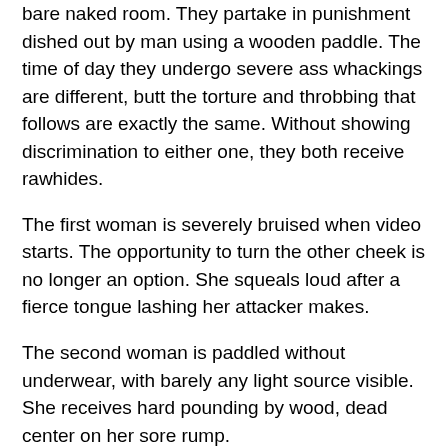bare naked room. They partake in punishment dished out by man using a wooden paddle. The time of day they undergo severe ass whackings are different, butt the torture and throbbing that follows are exactly the same. Without showing discrimination to either one, they both receive rawhides.
The first woman is severely bruised when video starts. The opportunity to turn the other cheek is no longer an option. She squeals loud after a fierce tongue lashing her attacker makes.
The second woman is paddled without underwear, with barely any light source visible. She receives hard pounding by wood, dead center on her sore rump.
There’s no two ways about it, the punishment dished out is to make the wrongdoing right.